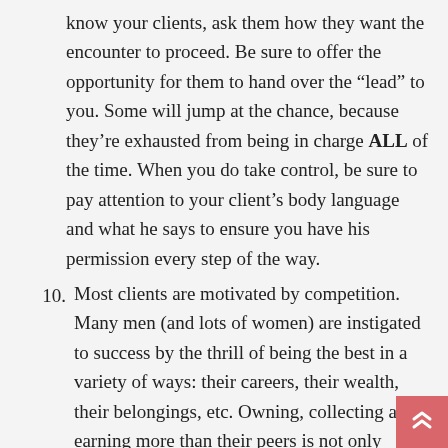know your clients, ask them how they want the encounter to proceed. Be sure to offer the opportunity for them to hand over the “lead” to you. Some will jump at the chance, because they’re exhausted from being in charge ALL of the time. When you do take control, be sure to pay attention to your client’s body language and what he says to ensure you have his permission every step of the way.
10. Most clients are motivated by competition. Many men (and lots of women) are instigated to success by the thrill of being the best in a variety of ways: their careers, their wealth, their belongings, etc. Owning, collecting and earning more than their peers is not only satisfying, but it defines success to them. Early on in their careers, your clients may have learned that their